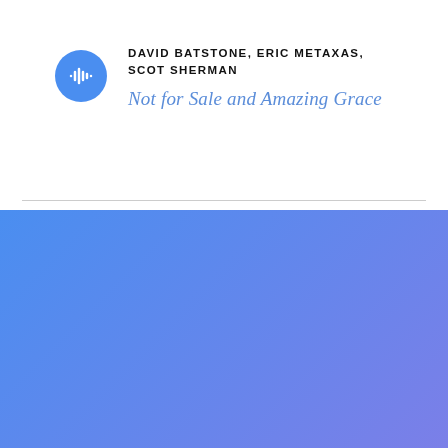[Figure (logo): Blue circular podcast/audio icon with white waveform symbol]
DAVID BATSTONE, ERIC METAXAS, SCOT SHERMAN
Not for Sale and Amazing Grace
[Figure (illustration): Large blue-to-purple gradient background filling the bottom half of the page]